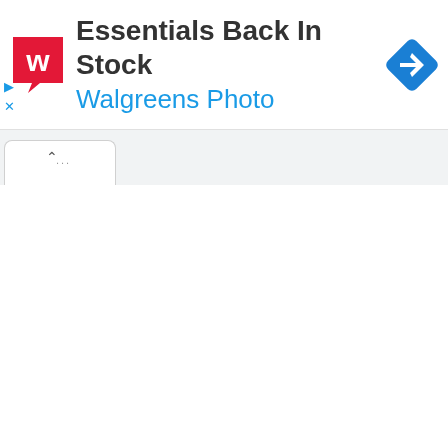[Figure (screenshot): Walgreens advertisement banner showing Walgreens logo (red 'W' on red speech bubble), text 'Essentials Back In Stock' in dark gray bold, 'Walgreens Photo' in blue, and a blue diamond navigation/direction icon on the right. Below the ad are play and close (X) control icons in blue.]
[Figure (screenshot): Browser tab bar showing an active white tab with an upward chevron (^) and ellipsis (...) inside it, set against a light gray tab strip background.]